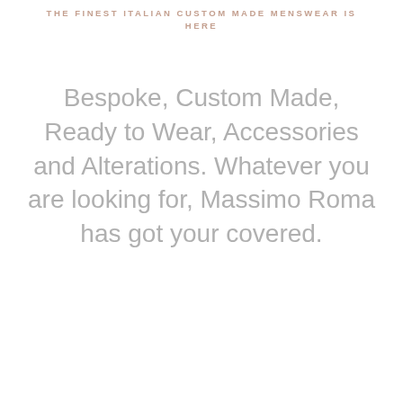THE FINEST ITALIAN CUSTOM MADE MENSWEAR IS HERE
Bespoke, Custom Made, Ready to Wear, Accessories and Alterations. Whatever you are looking for, Massimo Roma has got your covered.